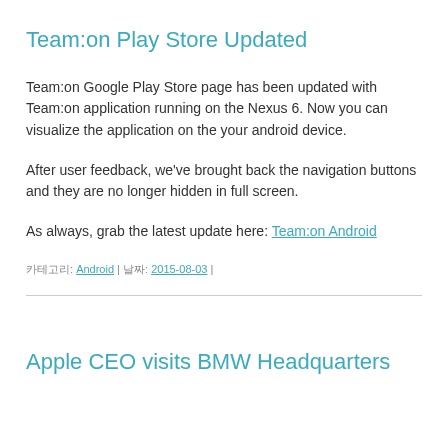Team:on Play Store Updated
Team:on Google Play Store page has been updated with Team:on application running on the Nexus 6. Now you can visualize the application on the your android device.
After user feedback, we've brought back the navigation buttons and they are no longer hidden in full screen.
As always, grab the latest update here: Team:on Android
카테고리: Android | 날짜: 2015-08-03 |
Apple CEO visits BMW Headquarters